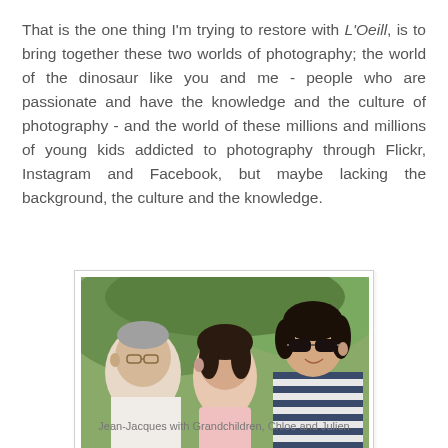That is the one thing I'm trying to restore with L'Oeill, is to bring together these two worlds of photography; the world of the dinosaur like you and me - people who are passionate and have the knowledge and the culture of photography - and the world of these millions and millions of young kids addicted to photography through Flickr, Instagram and Facebook, but maybe lacking the background, the culture and the knowledge.
[Figure (photo): Jean-Jacques with his grandchildren Chloe and Julien. An older man wearing glasses leans toward a young girl, while a boy wearing dark sunglasses and a striped shirt stands behind them. Green outdoor background.]
Jean-Jacques with Grandchildren, Chloe and Julien